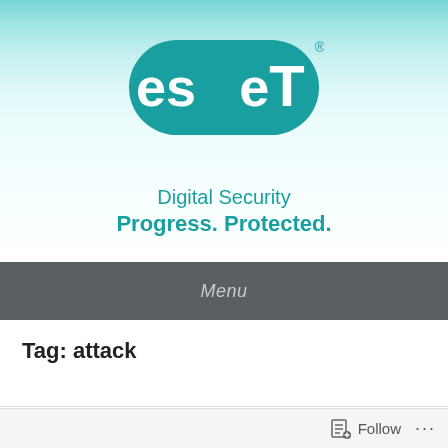[Figure (logo): ESET logo — teal rounded-rectangle pill with 'es' in white lowercase and 'eT' in white with large T, with registered trademark symbol]
Digital Security
Progress. Protected.
Menu
Tag: attack
Follow ...